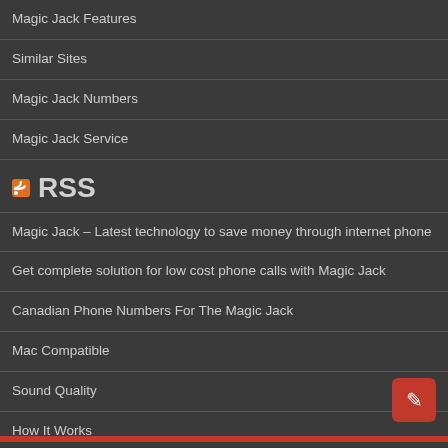Magic Jack Features
Similar Sites
Magic Jack Numbers
Magic Jack Service
RSS
Magic Jack – Latest technology to save money through internet phone
Get complete solution for low cost phone calls with Magic Jack
Canadian Phone Numbers For The Magic Jack
Mac Compatible
Sound Quality
How It Works
Magic Jack Features
Initial Setup